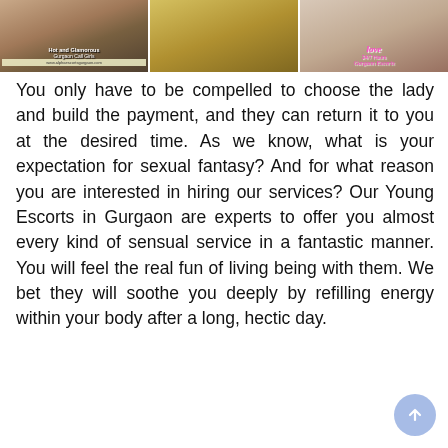[Figure (photo): Three images in a row: left shows a woman in white with overlay text 'Hot and Glamorous Gurgaon Call Girls' and website url; center shows a woman in yellow plaid skirt with fishnet stockings; right shows a woman's legs with pink cursive text overlay reading 'love 24/7 Hours Gurgaon Escorts']
You only have to be compelled to choose the lady and build the payment, and they can return it to you at the desired time. As we know, what is your expectation for sexual fantasy? And for what reason you are interested in hiring our services? Our Young Escorts in Gurgaon are experts to offer you almost every kind of sensual service in a fantastic manner. You will feel the real fun of living being with them. We bet they will soothe you deeply by refilling energy within your body after a long, hectic day.